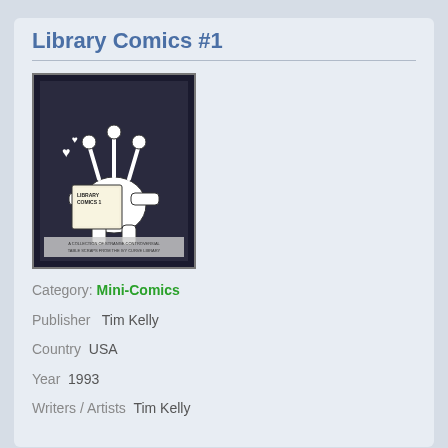Library Comics #1
[Figure (photo): Comic book cover for Library Comics #1 showing a cartoon creature reading a book titled 'LIBRARY COMICS 1' with hearts above, black and white illustration on dark background. Text at bottom reads 'A COLLECTION OF STRANGE CONTROVERSIAL TABLE SCRAPS FROM THE IVY CURVE LIBRARY']
Category: Mini-Comics
Publisher  Tim Kelly
Country  USA
Year  1993
Writers / Artists  Tim Kelly
Library Comics #2